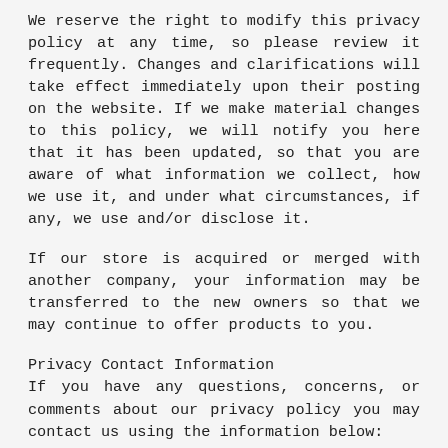We reserve the right to modify this privacy policy at any time, so please review it frequently. Changes and clarifications will take effect immediately upon their posting on the website. If we make material changes to this policy, we will notify you here that it has been updated, so that you are aware of what information we collect, how we use it, and under what circumstances, if any, we use and/or disclose it.
If our store is acquired or merged with another company, your information may be transferred to the new owners so that we may continue to offer products to you.
Privacy Contact Information
If you have any questions, concerns, or comments about our privacy policy you may contact us using the information below: